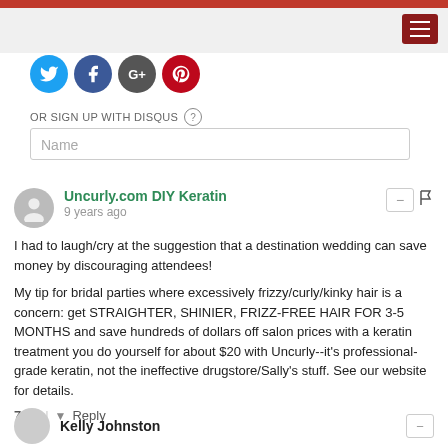[Figure (other): Social login icons: Twitter (blue), Facebook (dark blue), Google (gray), Pinterest (red)]
OR SIGN UP WITH DISQUS (?)
Name
Uncurly.com DIY Keratin
9 years ago
I had to laugh/cry at the suggestion that a destination wedding can save money by discouraging attendees!

My tip for bridal parties where excessively frizzy/curly/kinky hair is a concern: get STRAIGHTER, SHINIER, FRIZZ-FREE HAIR FOR 3-5 MONTHS and save hundreds of dollars off salon prices with a keratin treatment you do yourself for about $20 with Uncurly--it's professional-grade keratin, not the ineffective drugstore/Sally's stuff. See our website for details.
7 ▲ | ▼ Reply
Kelly Johnston